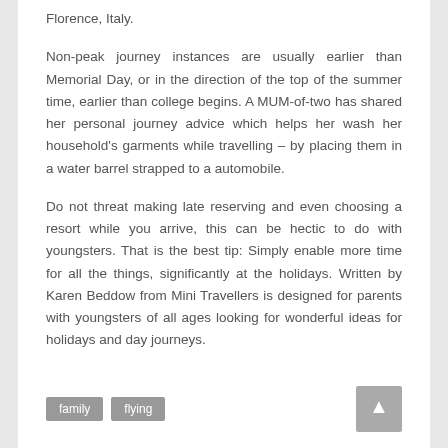Florence, Italy.
Non-peak journey instances are usually earlier than Memorial Day, or in the direction of the top of the summer time, earlier than college begins. A MUM-of-two has shared her personal journey advice which helps her wash her household's garments while travelling – by placing them in a water barrel strapped to a automobile.
Do not threat making late reserving and even choosing a resort while you arrive, this can be hectic to do with youngsters. That is the best tip: Simply enable more time for all the things, significantly at the holidays. Written by Karen Beddow from Mini Travellers is designed for parents with youngsters of all ages looking for wonderful ideas for holidays and day journeys.
family
flying